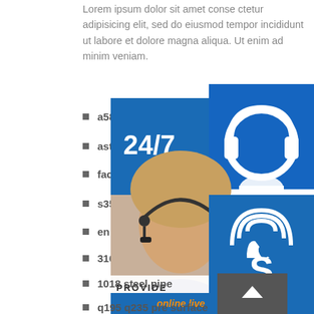Lorem ipsum dolor sit amet conse ctetur adipisicing elit, sed do eiusmod tempor incididunt ut labore et dolore magna aliqua. Ut enim ad minim veniam.
a588 grade c mayotte welding
astm514 equlivant
factory supply carbon steel flat bar a
s355j2 angle bar specification
en s275 rolled steel joist manufactur
316 ti stainless steel sheet plate pric
best seller product q235b 3 inch car pipe
astm a588 s355 s3355j2w s355jow 50mm steel plate used for wall panels
a572 grade 50 steel hot rolled mechanical properties
1018 steel pipe
q195 q235 pre surface treatment round steel
[Figure (infographic): Customer service widget panel showing 24/7 support badge, a photo of a female customer service representative with headset, headphone icon, phone/call icon, Skype icon, PROVIDE/Empowering Customers text, and an 'online live' button. Also a scroll-to-top arrow button.]